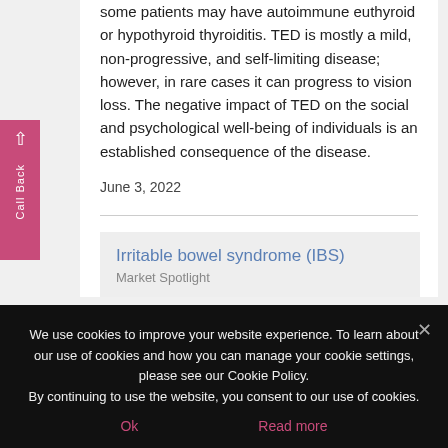some patients may have autoimmune euthyroid or hypothyroid thyroiditis. TED is mostly a mild, non-progressive, and self-limiting disease; however, in rare cases it can progress to vision loss. The negative impact of TED on the social and psychological well-being of individuals is an established consequence of the disease.
June 3, 2022
Irritable bowel syndrome (IBS)
Market Spotlight
We use cookies to improve your website experience. To learn about our use of cookies and how you can manage your cookie settings, please see our Cookie Policy.
By continuing to use the website, you consent to our use of cookies.